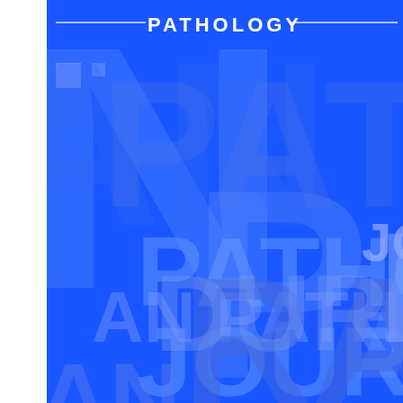[Figure (illustration): Book cover for a Pathology journal or textbook. Bright blue background with large semi-transparent watermark letters spelling out fragments of 'PATHOLOGY' and 'JOURNAL' repeated in lighter blue tones across the entire cover. At the top center, the word 'PATHOLOGY' is displayed in white bold text with horizontal decorative lines on either side. On the right side, partial text 'JO' is visible. The background is dominated by overlapping large blue letterforms in varying sizes and opacity creating a typographic pattern.]